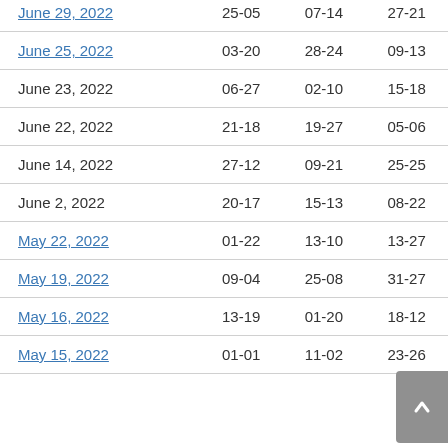| Date | Col1 | Col2 | Col3 |
| --- | --- | --- | --- |
| June 29, 2022 | 25-05 | 07-14 | 27-21 |
| June 25, 2022 | 03-20 | 28-24 | 09-13 |
| June 23, 2022 | 06-27 | 02-10 | 15-18 |
| June 22, 2022 | 21-18 | 19-27 | 05-06 |
| June 14, 2022 | 27-12 | 09-21 | 25-25 |
| June 2, 2022 | 20-17 | 15-13 | 08-22 |
| May 22, 2022 | 01-22 | 13-10 | 13-27 |
| May 19, 2022 | 09-04 | 25-08 | 31-27 |
| May 16, 2022 | 13-19 | 01-20 | 18-12 |
| May 15, 2022 | 01-01 | 11-02 | 23-26 |